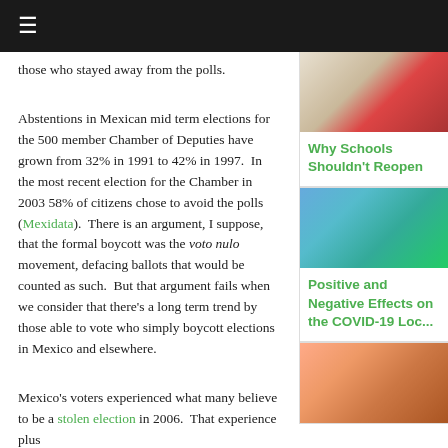≡
those who stayed away from the polls.
Abstentions in Mexican mid term elections for the 500 member Chamber of Deputies have grown from 32% in 1991 to 42% in 1997.  In the most recent election for the Chamber in 2003 58% of citizens chose to avoid the polls (Mexidata).  There is an argument, I suppose, that the formal boycott was the voto nulo movement, defacing ballots that would be counted as such.  But that argument fails when we consider that there's a long term trend by those able to vote who simply boycott elections in Mexico and elsewhere.
Mexico's voters experienced what many believe to be a stolen election in 2006.  That experience plus
[Figure (photo): Photo of a child writing/studying]
Why Schools Shouldn't Reopen
[Figure (photo): Photo of a coffee cup with book and flowers]
Positive and Negative Effects on the COVID-19 Loc...
[Figure (photo): Photo of a monkey toy]